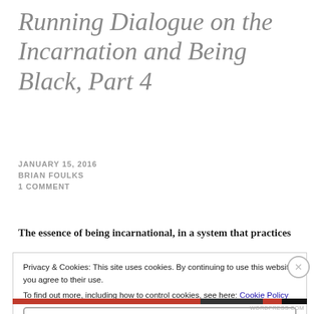Running Dialogue on the Incarnation and Being Black, Part 4
JANUARY 15, 2016
BRIAN FOULKS
1 COMMENT
The essence of being incarnational, in a system that practices
Privacy & Cookies: This site uses cookies. By continuing to use this website, you agree to their use. To find out more, including how to control cookies, see here: Cookie Policy
Close and accept